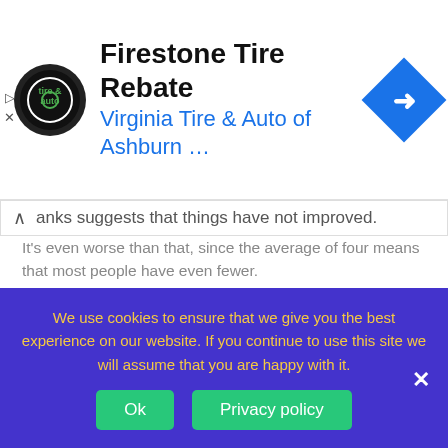[Figure (screenshot): Advertisement banner for Firestone Tire Rebate from Virginia Tire & Auto of Ashburn with logo and navigation icon]
anks suggests that things have not improved.
It's even worse than that, since the average of four means that most people have even fewer.
According to official statistics, 65.1% of trains in the UK arrive within one minute of their scheduled time.

The problem is that trains do not come in regular intervals. I am more likely to catch a train that has a
We use cookies to ensure that we give you the best experience on our website. If you continue to use this site we will assume that you are happy with it.